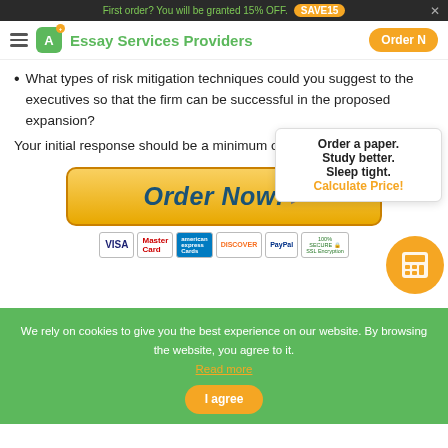First order? You will be granted 15% OFF. SAVE15
A+ Essay Services Providers  Order Now
What types of risk mitigation techniques could you suggest to the executives so that the firm can be successful in the proposed expansion?
Your initial response should be a minimum of 2...
[Figure (screenshot): Order Now button with payment icons: VISA, MasterCard, American Express, Discover, PayPal, 100% Secure SSL Encryption]
We rely on cookies to give you the best experience on our website. By browsing the website, you agree to it. Read more
I agree